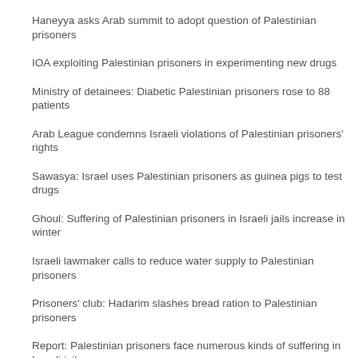Haneyya asks Arab summit to adopt question of Palestinian prisoners
IOA exploiting Palestinian prisoners in experimenting new drugs
Ministry of detainees: Diabetic Palestinian prisoners rose to 88 patients
Arab League condemns Israeli violations of Palestinian prisoners' rights
Sawasya: Israel uses Palestinian prisoners as guinea pigs to test drugs
Ghoul: Suffering of Palestinian prisoners in Israeli jails increase in winter
Israeli lawmaker calls to reduce water supply to Palestinian prisoners
Prisoners' club: Hadarim slashes bread ration to Palestinian prisoners
Report: Palestinian prisoners face numerous kinds of suffering in Israeli jails
Palestinian prisoners go on hunger strike in solidarity with Hashlamon
MB Statements | Youth | Community Outreach | Women | Q&A ABOUT MB | Inte Research and Commentary | MB Around The World | News | Opinions | Videos © The Muslim Brotherhood All copyright and re-transport from the site of any material are allowed as long as the sou